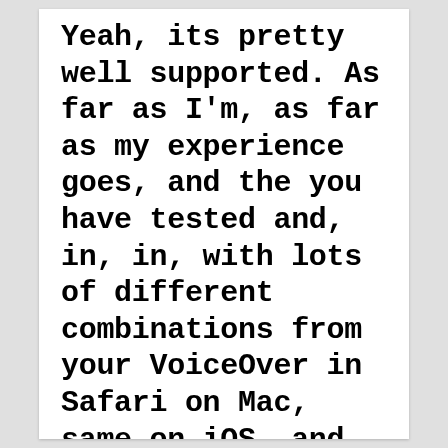Yeah, its pretty well supported. As far as I'm, as far as my experience goes, and the you have tested and, in, in, with lots of different combinations from your VoiceOver in Safari on Mac, same on iOS, and then looking at things like NVDA and Firefox, on Windows, and it doesn't quite say exactly the same thing but it does convey the meaning of the of the <section> element